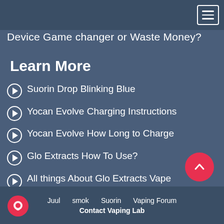Device Game changer or Waste Money?
Learn More
Suorin Drop Blinking Blue
Yocan Evolve Charging Instructions
Yocan Evolve How Long to Charge
Glo Extracts How To Use?
All things About Glo Extracts Vape Cartridges
Juul   smok   Suorin   Vaping Forum   Contact Vaping Lab